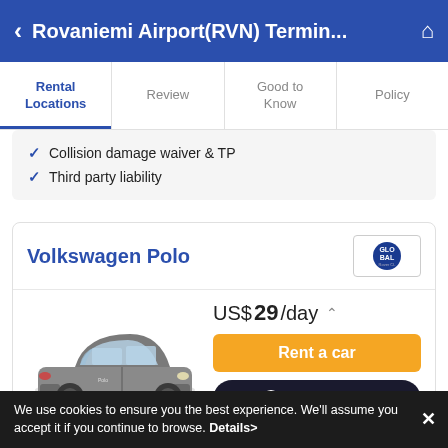Rovaniemi Airport(RVN) Termin...
Rental Locations | Review | Good to Know | Policy
✓ Collision damage waiver & TP
✓ Third party liability
Volkswagen Polo
[Figure (photo): Volkswagen Polo silver car image]
US$ 29/day
Rent a car
Search Car
We use cookies to ensure you the best experience. We'll assume you accept it if you continue to browse. Details>